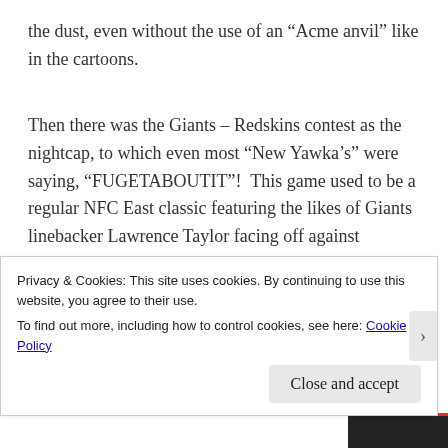the dust, even without the use of an “Acme anvil” like in the cartoons.
Then there was the Giants – Redskins contest as the nightcap, to which even most “New Yawka’s” were saying, “FUGETABOUTIT”!  This game used to be a regular NFC East classic featuring the likes of Giants linebacker Lawrence Taylor facing off against Redskins quarterback
Privacy & Cookies: This site uses cookies. By continuing to use this website, you agree to their use.
To find out more, including how to control cookies, see here: Cookie Policy
Close and accept